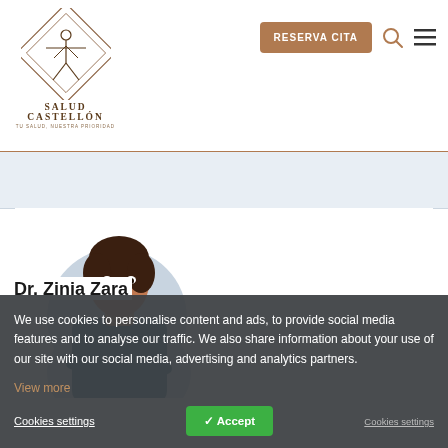[Figure (logo): Salud Castellón logo with Vitruvian man inside diamond geometric shapes]
SALUD CASTELLÓN
TU SALUD, NUESTRA PRIORIDAD
RESERVA CITA
[Figure (photo): Portrait photo of Dr. Zinia Zara, a female doctor in blue scrubs with arms crossed, shown from waist up, displayed in a circular cropped frame]
We use cookies to personalise content and ads, to provide social media features and to analyse our traffic. We also share information about your use of our site with our social media, advertising and analytics partners.
View more
Cookies settings
✓ Accept
Cookies settings
Dr. Zinia Zara